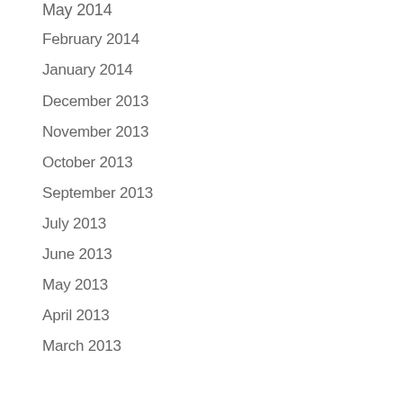May 2014
February 2014
January 2014
December 2013
November 2013
October 2013
September 2013
July 2013
June 2013
May 2013
April 2013
March 2013